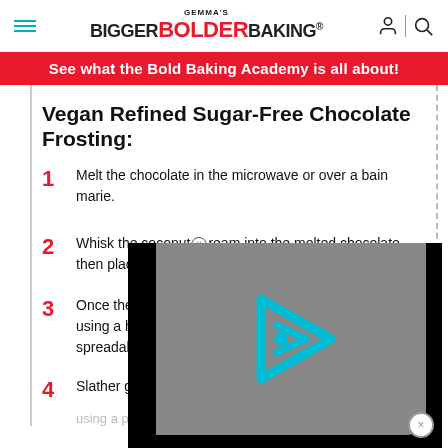GEMMA'S BIGGER BOLDER BAKING®
See what the Bold Baking Academy is all about!
Vegan Refined Sugar-Free Chocolate Frosting:
1  Melt the chocolate in the microwave or over a bain marie.
2  Whisk the coconut cream into the melted chocolate, then place in the frid... until fi...
3  Once the chocolat... using a hand or stan... spreadable.
4  Slather generousl... using a piping bag.
[Figure (screenshot): Video player overlay with play button (cyan triangular play icon on gray background with black borders)]